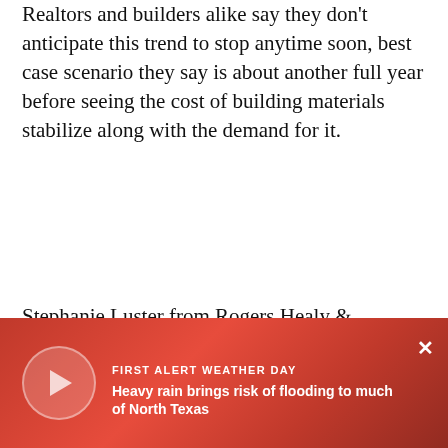Realtors and builders alike say they don't anticipate this trend to stop anytime soon, best case scenario they say is about another full year before seeing the cost of building materials stabilize along with the demand for it.
Stephanie Luster from Rogers Healy & Associates is Rivas's realtor.
She said the advice those looking to buy a newly-built home is straight forward right now, be prepared to pay a lot more or wait until the prices come down.
"I tell people you've got to be ready. If you really are serious about buying... said Luster.
[Figure (other): Red overlay banner with video play button thumbnail on the left. Text reads: FIRST ALERT WEATHER DAY — Heavy rain brings risk of flooding to much of North Texas. Close button (×) in top-right corner.]